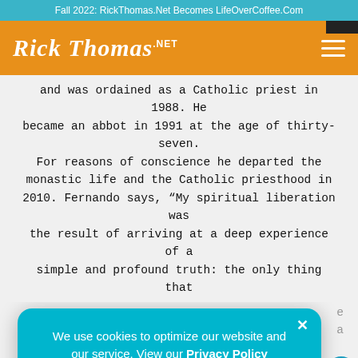Fall 2022: RickThomas.Net Becomes LifeOverCoffee.Com
[Figure (logo): Rick Thomas .NET logo in white script on orange background with hamburger menu icon]
and was ordained as a Catholic priest in 1988. He became an abbot in 1991 at the age of thirty-seven. For reasons of conscience he departed the monastic life and the Catholic priesthood in 2010. Fernando says, “My spiritual liberation was the result of arriving at a deep experience of a simple and profound truth: the only thing that
We use cookies to optimize our website and our service. View our Privacy Policy
Decline
Accept